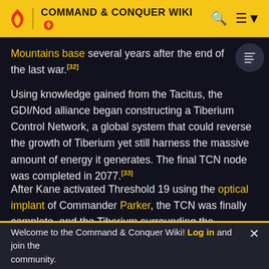COMMAND & CONQUER WIKI
Mountains base several years after the end of the last war.[32]
Using knowledge gained from the Tacitus, the GDI/Nod alliance began constructing a Tiberium Control Network, a global system that could reverse the growth of Tiberium yet still harness the massive amount of energy it generates. The final TCN node was completed in 2077.[33]
After Kane activated Threshold 19 using the optical implant of Commander Parker, the TCN was finally complete, and the Tiberium surrounding the worldwide
Welcome to the Command & Conquer Wiki! Log in and join the community.